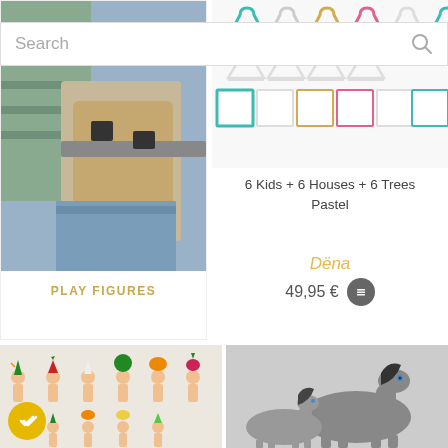[Figure (screenshot): Search bar with placeholder text and search icon]
[Figure (photo): Left product card showing play figures with a belt/pouch item and PLAY FIGURES label]
[Figure (photo): Right product: colorful hangers and color swatches for 6 Kids + 6 Houses + 6 Trees Pastel set by Dëna, priced 49,95 €]
6 Kids + 6 Houses + 6 Trees Pastel
Dëna
49,95 €
[Figure (photo): Bottom left: small naked dolls with vegetable costumes arranged in a grid]
[Figure (photo): Bottom right: two grey horse figurines]